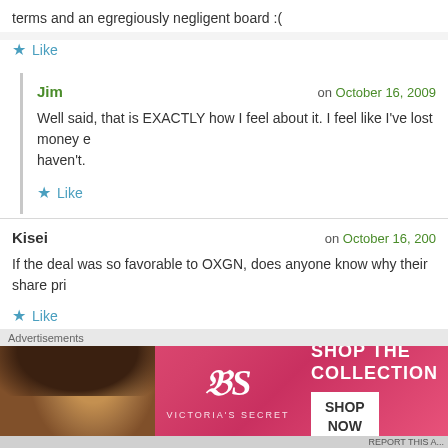terms and an egregiously negligent board :(
Like
Jim on October 16, 2009
Well said, that is EXACTLY how I feel about it. I feel like I've lost money e haven't.
Like
Kisei on October 16, 200
If the deal was so favorable to OXGN, does anyone know why their share pri
Like
MID on October 16,
[Figure (advertisement): Victoria's Secret advertisement banner with a model, pink background, Victoria's Secret logo, 'SHOP THE COLLECTION' text and 'SHOP NOW' button]